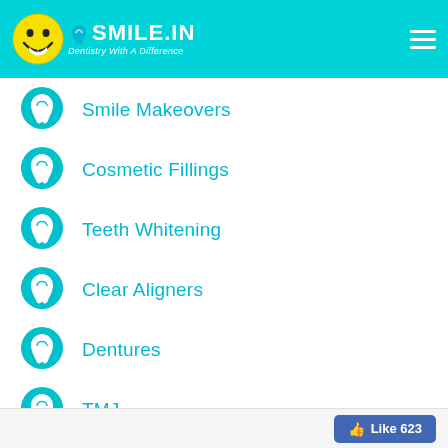[Figure (logo): Smile.in dental clinic logo with smiley face icon and tagline 'Dentistry With A Difference' on cyan header bar]
Smile Makeovers
Cosmetic Fillings
Teeth Whitening
Clear Aligners
Dentures
TMJ
Preventive Dentistry
Metal free crowns & bridges
Like 623